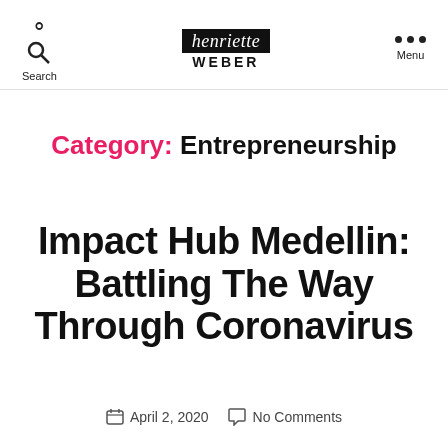Search | henriette WEBER | Menu
Category: Entrepreneurship
Impact Hub Medellin: Battling The Way Through Coronavirus
April 2, 2020   No Comments